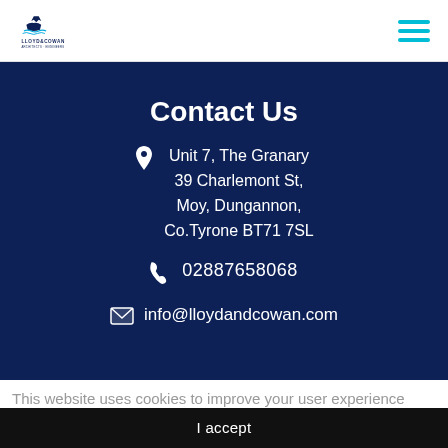[Figure (logo): Lloyd & Cowan logo with text and ship/crown icon]
Contact Us
Unit 7, The Granary
39 Charlemont St,
Moy, Dungannon,
Co.Tyrone BT71 7SL
02887658068
info@lloydandcowan.com
This website uses cookies to improve your user experience More
I accept